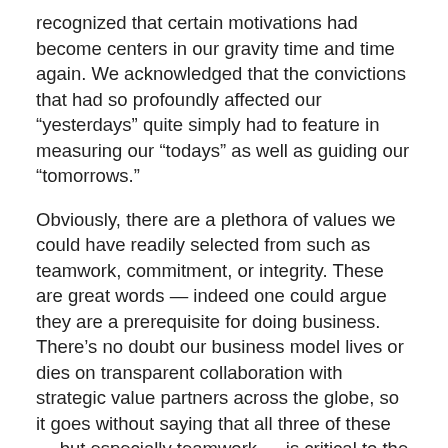recognized that certain motivations had become centers in our gravity time and time again. We acknowledged that the convictions that had so profoundly affected our “yesterdays” quite simply had to feature in measuring our “todays” as well as guiding our “tomorrows.”
Obviously, there are a plethora of values we could have readily selected from such as teamwork, commitment, or integrity. These are great words — indeed one could argue they are a prerequisite for doing business. There’s no doubt our business model lives or dies on transparent collaboration with strategic value partners across the globe, so it goes without saying that all three of these — but especially teamwork — is critical to the business.
But for us, these terms and others — including love, giving, and innovation — felt more implicit. They very much needed to be part of the business, but as an extension rather than the core of our values system. What we were looking for were a set of terms that reflected our life experiences. We wanted terms that together were a belief system that would play a more explicit